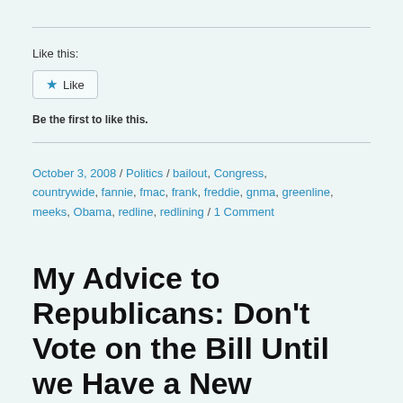Like this:
★ Like
Be the first to like this.
October 3, 2008 / Politics / bailout, Congress, countrywide, fannie, fmac, frank, freddie, gnma, greenline, meeks, Obama, redline, redlining / 1 Comment
My Advice to Republicans: Don't Vote on the Bill Until we Have a New Speaker